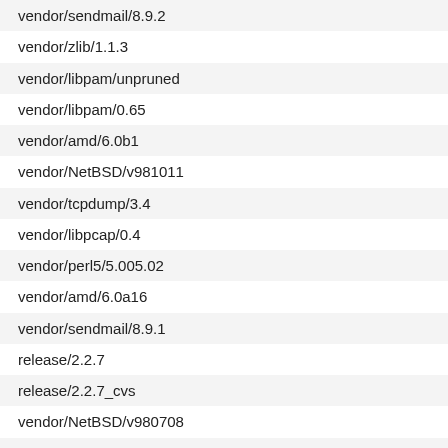vendor/sendmail/8.9.2
vendor/zlib/1.1.3
vendor/libpam/unpruned
vendor/libpam/0.65
vendor/amd/6.0b1
vendor/NetBSD/v981011
vendor/tcpdump/3.4
vendor/libpcap/0.4
vendor/perl5/5.005.02
vendor/amd/6.0a16
vendor/sendmail/8.9.1
release/2.2.7
release/2.2.7_cvs
vendor/NetBSD/v980708
vendor/pppd/2.3.5
vendor/ipfilter/3.2.7
vendor/ipfilter-sys/v3_2_7
vendor/NetBSD/v980608
vendor/bind/8.1.2
vendor/softupdates/Feb20-98-ALPHA
vendor/softdep/Feb20-98-ALPHA
vendor/softupdates/Feb13-98-ALPHA
vendor/softdep/Feb13-98-ALPHA
vendor/softupdates/Feb12-98-ALPHA
vendor/softdep/Feb12-98-ALPHA
vendor/softupdates/Feb11-98-ALPHA